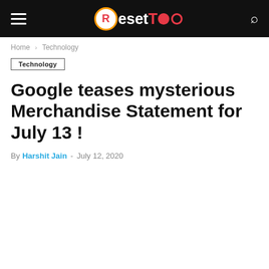ResetToo
Home > Technology
Technology
Google teases mysterious Merchandise Statement for July 13 !
By Harshit Jain - July 12, 2020